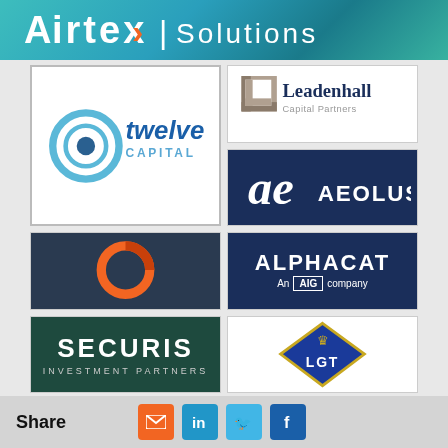[Figure (logo): Airtex Solutions banner logo at top]
[Figure (logo): Leadenhall Capital Partners logo]
[Figure (logo): Aeolus logo on dark navy background]
[Figure (logo): Alphacat An AIG company logo on dark navy background]
[Figure (logo): LGT logo with crown and diamond]
[Figure (logo): Twelve Capital logo with circular icon]
[Figure (logo): Dark tech background with orange circle logo]
[Figure (logo): Securis Investment Partners logo on dark green background]
Share